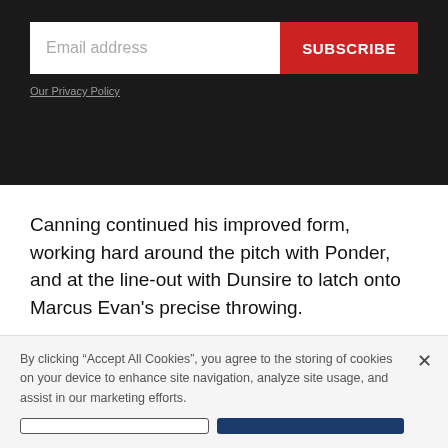[Figure (screenshot): Email subscription form with dark background, email input field and red SUBSCRIBE button]
Our Privacy Policy
Canning continued his improved form, working hard around the pitch with Ponder, and at the line-out with Dunsire to latch onto Marcus Evan's precise throwing.
Chester disrupted the visitors with some massive tackles in midfield and it was from one such hit that
By clicking “Accept All Cookies”, you agree to the storing of cookies on your device to enhance site navigation, analyze site usage, and assist in our marketing efforts.